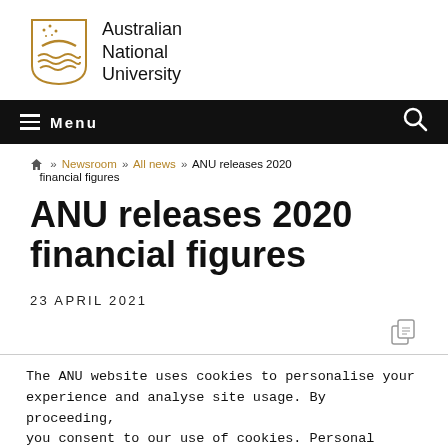[Figure (logo): Australian National University shield logo with gold crest and text 'Australian National University']
Menu
» Newsroom » All news » ANU releases 2020 financial figures
ANU releases 2020 financial figures
23 APRIL 2021
[Figure (illustration): Share/copy icon]
The ANU website uses cookies to personalise your experience and analyse site usage. By proceeding, you consent to our use of cookies. Personal information will be handled in accordance with the